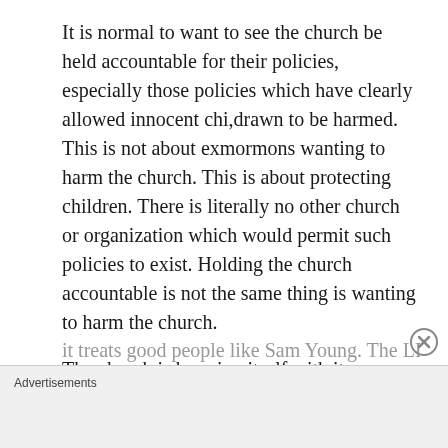It is normal to want to see the church be held accountable for their policies, especially those policies which have clearly allowed innocent chi,drawn to be harmed. This is not about exmormons wanting to harm the church. This is about protecting children. There is literally no other church or organization which would permit such policies to exist. Holding the church accountable is not the same thing is wanting to harm the church.
The church is harming itself with its abominable policies. The church is harming itself in the way it treats good people like Sam Young. The LDS
Advertisements